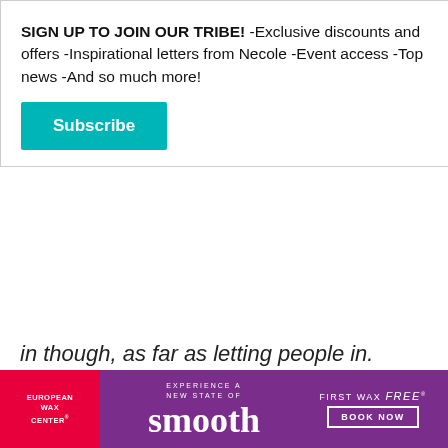SIGN UP TO JOIN OUR TRIBE! -Exclusive discounts and offers -Inspirational letters from Necole -Event access -Top news -And so much more!
Subscribe
in though, as far as letting people in.
What are some te discerning a wom interested in?
[Figure (other): European Wax Center advertisement banner: 'Experience a new state of smooth - First wax free - Book Now']